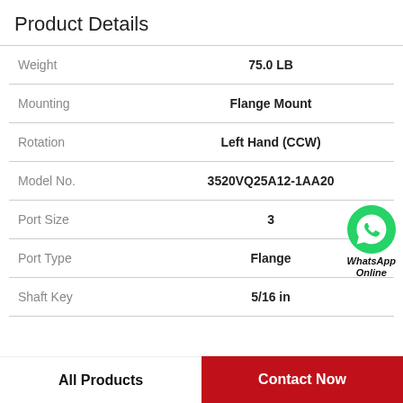Product Details
|  |  |
| --- | --- |
| Weight | 75.0 LB |
| Mounting | Flange Mount |
| Rotation | Left Hand (CCW) |
| Model No. | 3520VQ25A12-1AA20 |
| Port Size | 3 |
| Port Type | Flange |
| Shaft Key | 5/16 in |
|  |  |
[Figure (logo): WhatsApp Online green phone icon with text 'WhatsApp Online']
All Products    Contact Now